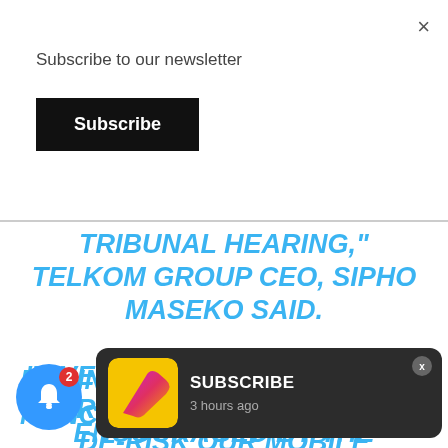×
Subscribe to our newsletter
Subscribe
TRIBUNAL HEARING," TELKOM GROUP CEO, SIPHO MASEKO SAID.
"OVER THE PAST 18 MONTHS, OUR FOCUSED EFFORTS TO DE-RISK OUR MOBILE BUSINESS HAVE DELIVERED A MOBILE DIVISION THAT IS VIABLE AND SUSTAINABLE. THE MOBILE BUSINESS ... FINANCI... ENCOURAGED BY THE STABILITY
[Figure (screenshot): Subscribe toast notification overlay with app icon (yellow/pink/purple gradient arrow logo), 'SUBSCRIBE' text, '3 hours ago' timestamp, and an X close button]
[Figure (infographic): Blue circular notification bell icon with red badge showing number 2]